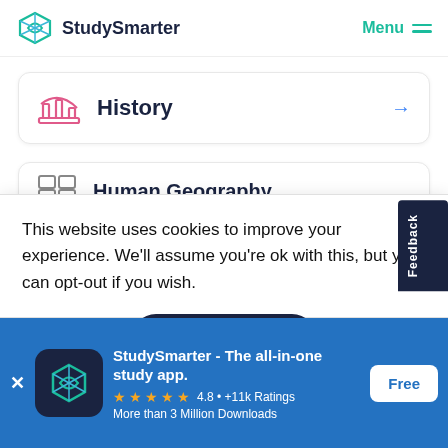StudySmarter   Menu
History →
Human Geography
This website uses cookies to improve your experience. We'll assume you're ok with this, but you can opt-out if you wish.
Accept
Feedback
StudySmarter - The all-in-one study app. ★★★★★ 4.8 • +11k Ratings More than 3 Million Downloads Free